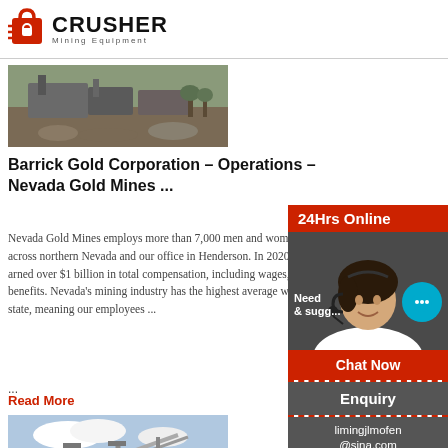CRUSHER Mining Equipment
[Figure (photo): Mining equipment / crusher machinery in operation, outdoor rocky site]
Barrick Gold Corporation – Operations – Nevada Gold Mines ...
Nevada Gold Mines employs more than 7,000 men and women at our operations across northern Nevada and our office in Henderson. In 2020, NGM employees earned over $1 billion in total compensation, including wages, incentives and benefits. Nevada's mining industry has the highest average wage of any sector in the state, meaning our em...
...
Read More
[Figure (photo): Industrial conveyor belt structure at a mining facility against a cloudy sky]
[Figure (photo): 24Hrs Online chat support sidebar with agent photo, Chat Now button, Enquiry section, and email limingjlmofen@sina.com]